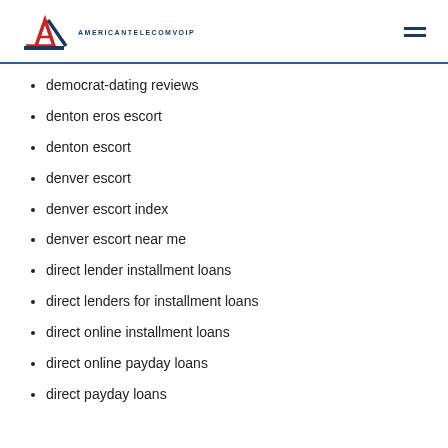AMERICANTELECOMVOIP
democrat-dating reviews
denton eros escort
denton escort
denver escort
denver escort index
denver escort near me
direct lender installment loans
direct lenders for installment loans
direct online installment loans
direct online payday loans
direct payday loans